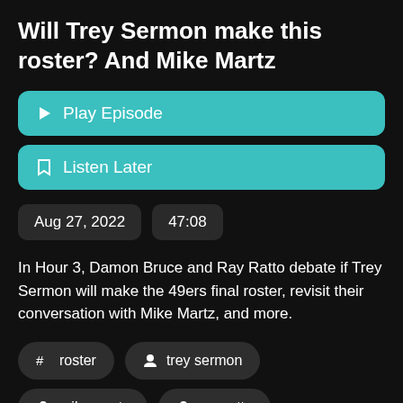Will Trey Sermon make this roster? And Mike Martz
Play Episode
Listen Later
Aug 27, 2022
47:08
In Hour 3, Damon Bruce and Ray Ratto debate if Trey Sermon will make the 49ers final roster, revisit their conversation with Mike Martz, and more.
# roster
person trey sermon
person mike martz
person ray ratto